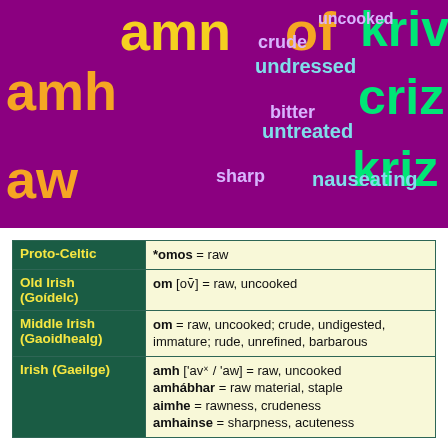[Figure (infographic): Word cloud on purple background showing various words related to 'raw' in different languages and English synonyms: amh (large orange), amn (large orange/yellow), of (large orange), kriv (large green), amh (large orange), crude (purple/light), undressed (cyan), criz (large green), bitter (light), untreated (cyan), kriz (large green), aw (large orange), sharp (light), nauseating (cyan)]
| Language | Definition |
| --- | --- |
| Proto-Celtic | *omos = raw |
| Old Irish (Goídelc) | om [ov̄] = raw, uncooked |
| Middle Irish (Gaoidhealg) | om = raw, uncooked; crude, undigested, immature; rude, unrefined, barbarous |
| Irish (Gaeilge) | amh ['avˣ / 'aw] = raw, uncooked
amhábhar = raw material, staple
aimhe = rawness, crudeness
amhainse = sharpness, acuteness... |